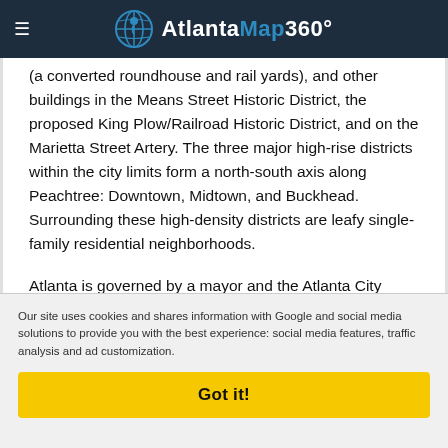AtlantaMap360°
(a converted roundhouse and rail yards), and other buildings in the Means Street Historic District, the proposed King Plow/Railroad Historic District, and on the Marietta Street Artery. The three major high-rise districts within the city limits form a north-south axis along Peachtree: Downtown, Midtown, and Buckhead. Surrounding these high-density districts are leafy single-family residential neighborhoods.
Atlanta is governed by a mayor and the Atlanta City Council. The city council consists of 15 representatives—one from each of the city 12 districts and three at-large positions as its shown in Atlanta districts map (a district system superseded the ward system in 1954). Atlanta also serves as the home of the United States Court of Appeals for the Eleventh Circuit and of the United States District Court for the Northern District of Georgia
Our site uses cookies and shares information with Google and social media solutions to provide you with the best experience: social media features, traffic analysis and ad customization.
Got it!